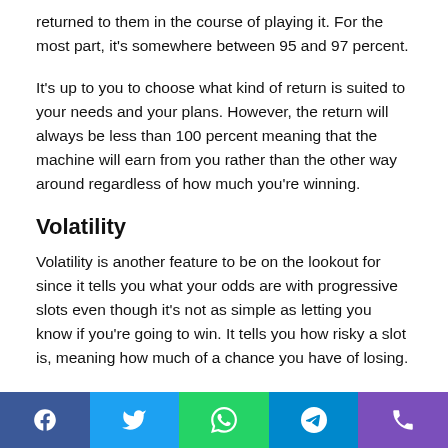returned to them in the course of playing it. For the most part, it's somewhere between 95 and 97 percent.
It's up to you to choose what kind of return is suited to your needs and your plans. However, the return will always be less than 100 percent meaning that the machine will earn from you rather than the other way around regardless of how much you're winning.
Volatility
Volatility is another feature to be on the lookout for since it tells you what your odds are with progressive slots even though it's not as simple as letting you know if you're going to win. It tells you how risky a slot is, meaning how much of a chance you have of losing.
[Figure (other): Social media sharing bar with Facebook, Twitter, WhatsApp, Telegram, and phone icons]